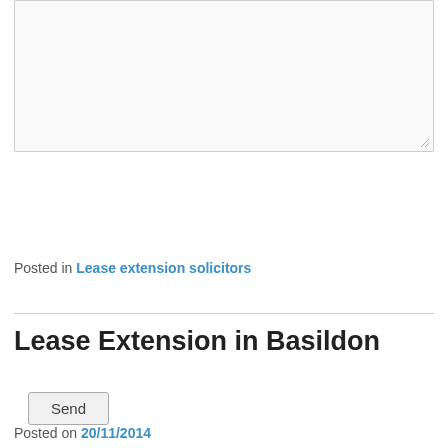[Figure (screenshot): Text area input box (empty, resizable), partially shown at top of page]
Send
Posted in Lease extension solicitors
Lease Extension in Basildon
Posted on 20/11/2014
Basildon was effectively created in 1948 as a new town in order to accommodate the overspill population from London after the Second World